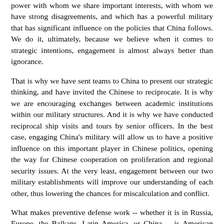power with whom we share important interests, with whom we have strong disagreements, and which has a powerful military that has significant influence on the policies that China follows. We do it, ultimately, because we believe when it comes to strategic intentions, engagement is almost always better than ignorance.
That is why we have sent teams to China to present our strategic thinking, and have invited the Chinese to reciprocate. It is why we are encouraging exchanges between academic institutions within our military structures. And it is why we have conducted reciprocal ship visits and tours by senior officers. In the best case, engaging China's military will allow us to have a positive influence on this important player in Chinese politics, opening the way for Chinese cooperation on proliferation and regional security issues. At the very least, engagement between our two military establishments will improve our understanding of each other, thus lowering the chances for miscalculation and conflict.
What makes preventive defense work -- whether it is in Russia, Europe, the Balkans, Latin America, or China -- is American leadership. There is no other country in the world with the ability to reach out to so many corners of the globe. There is no other country in the world whose efforts to do so are so respected. At the same time, no one should think that preventive defense is a philanthropic venture -- it is not. It's about hard work and ingenuity